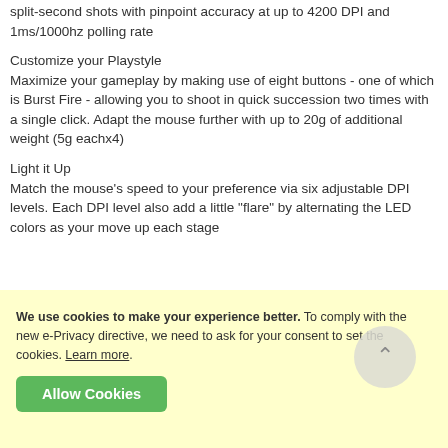split-second shots with pinpoint accuracy at up to 4200 DPI and 1ms/1000hz polling rate
Customize your Playstyle
Maximize your gameplay by making use of eight buttons - one of which is Burst Fire - allowing you to shoot in quick succession two times with a single click. Adapt the mouse further with up to 20g of additional weight (5g eachx4)
Light it Up
Match the mouse's speed to your preference via six adjustable DPI levels. Each DPI level also add a little "flare" by alternating the LED colors as your move up each stage
We use cookies to make your experience better. To comply with the new e-Privacy directive, we need to ask for your consent to set the cookies. Learn more. Allow Cookies.